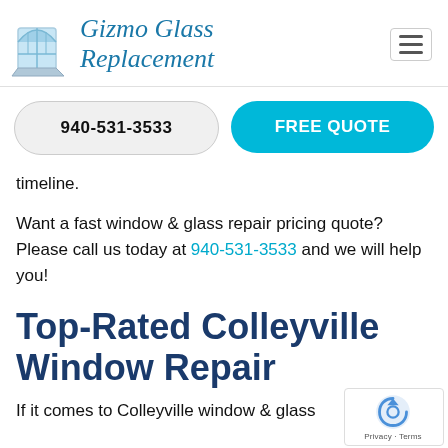Gizmo Glass Replacement
940-531-3533
FREE QUOTE
timeline.
Want a fast window & glass repair pricing quote? Please call us today at 940-531-3533 and we will help you!
Top-Rated Colleyville Window Repair
If it comes to Colleyville window & glass